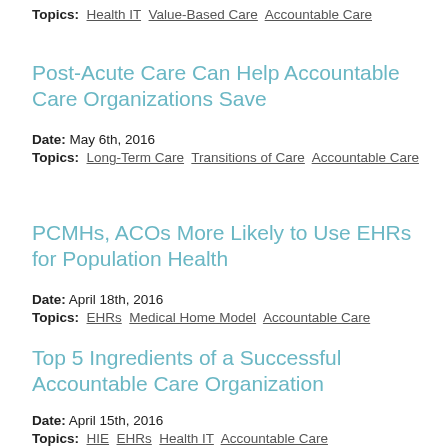Topics: Health IT  Value-Based Care  Accountable Care
Post-Acute Care Can Help Accountable Care Organizations Save
Date: May 6th, 2016
Topics: Long-Term Care  Transitions of Care  Accountable Care
PCMHs, ACOs More Likely to Use EHRs for Population Health
Date: April 18th, 2016
Topics: EHRs  Medical Home Model  Accountable Care
Top 5 Ingredients of a Successful Accountable Care Organization
Date: April 15th, 2016
Topics: HIE  EHRs  Health IT  Accountable Care